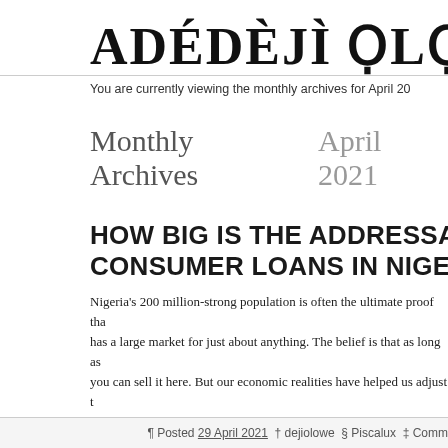ADÉDÈJÌ ỌLỌV
You are currently viewing the monthly archives for April 20
Monthly Archives  April 2021
HOW BIG IS THE ADDRESSABLE MAR CONSUMER LOANS IN NIGERIA?
Nigeria's 200 million-strong population is often the ultimate proof tha has a large market for just about anything. The belief is that as long as you can sell it here. But our economic realities have helped us adjust t expectations and what we now talk a lot […]
¶ Posted 29 April 2021  † dejiolowe  § Piscalux  ‡ Comm